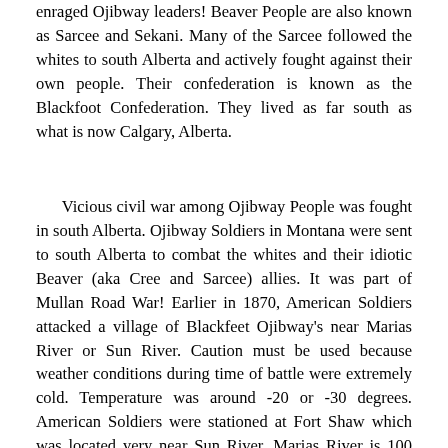enraged Ojibway leaders! Beaver People are also known as Sarcee and Sekani. Many of the Sarcee followed the whites to south Alberta and actively fought against their own people. Their confederation is known as the Blackfoot Confederation. They lived as far south as what is now Calgary, Alberta.
Vicious civil war among Ojibway People was fought in south Alberta. Ojibway Soldiers in Montana were sent to south Alberta to combat the whites and their idiotic Beaver (aka Cree and Sarcee) allies. It was part of Mullan Road War! Earlier in 1870, American Soldiers attacked a village of Blackfeet Ojibway's near Marias River or Sun River. Caution must be used because weather conditions during time of battle were extremely cold. Temperature was around -20 or -30 degrees. American Soldiers were stationed at Fort Shaw which was located very near Sun River. Marias River is 100 miles to the north. A major battle was fought where Lethbridge, Alberta is on October 25, 1870. A force of Sarcee Soldiers and their white allies, forced their way from the Calgary